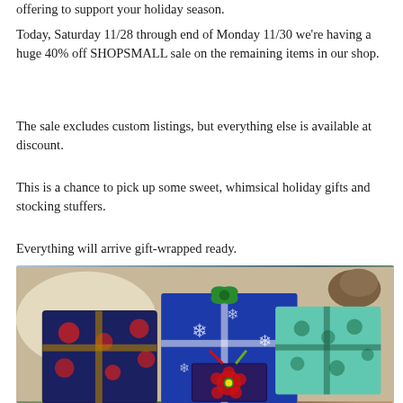offering to support your holiday season.
Today, Saturday 11/28 through end of Monday 11/30 we're having a huge 40% off SHOPSMALL sale on the remaining items in our shop.
The sale excludes custom listings, but everything else is available at discount.
This is a chance to pick up some sweet, whimsical holiday gifts and stocking stuffers.
Everything will arrive gift-wrapped ready.
[Figure (photo): Photo of several Christmas gift-wrapped presents with colorful holiday wrapping paper (blue snowflake, Santa Claus, and elf/character patterns) and ribbons, arranged on a surface with pine cones in background.]